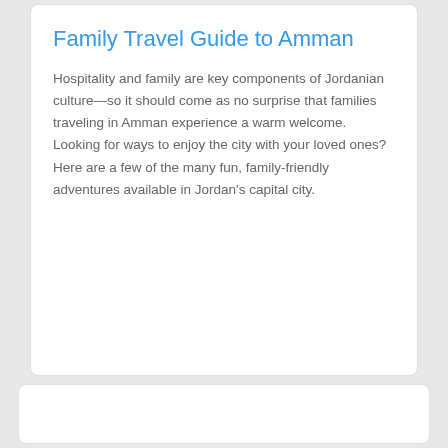Family Travel Guide to Amman
Hospitality and family are key components of Jordanian culture—so it should come as no surprise that families traveling in Amman experience a warm welcome. Looking for ways to enjoy the city with your loved ones? Here are a few of the many fun, family-friendly adventures available in Jordan's capital city.